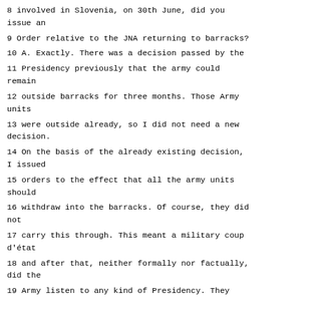8 involved in Slovenia, on 30th June, did you issue an
9 Order relative to the JNA returning to barracks?
10 A. Exactly. There was a decision passed by the
11 Presidency previously that the army could remain
12 outside barracks for three months. Those Army units
13 were outside already, so I did not need a new decision.
14 On the basis of the already existing decision, I issued
15 orders to the effect that all the army units should
16 withdraw into the barracks. Of course, they did not
17 carry this through. This meant a military coup d'état
18 and after that, neither formally nor factually, did the
19 Army listen to any kind of Presidency. They